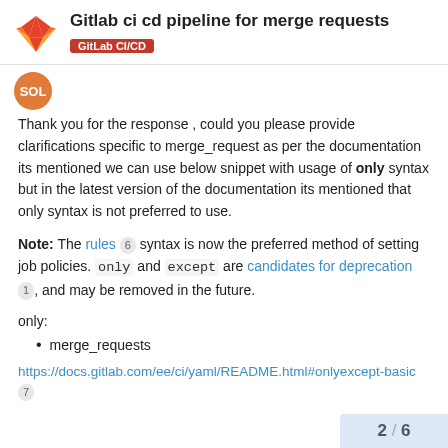Gitlab ci cd pipeline for merge requests — GitLab CI/CD
Thank you for the response , could you please provide clarifications specific to merge_request as per the documentation its mentioned we can use below snippet with usage of only syntax but in the latest version of the documentation its mentioned that only syntax is not preferred to use.
Note: The rules [6] syntax is now the preferred method of setting job policies. only and except are candidates for deprecation [1], and may be removed in the future.
only:
merge_requests
https://docs.gitlab.com/ee/ci/yaml/README.html#onlyexcept-basic [7]
2 / 6